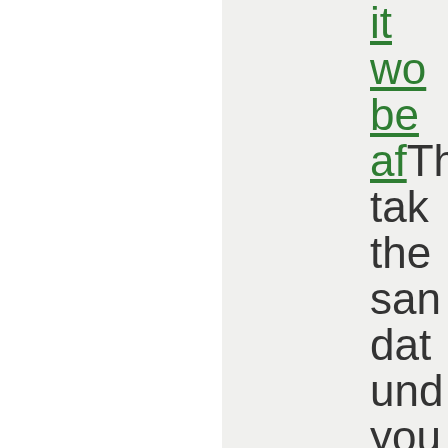It would be after This takes the same data under your current tax rate (but which may be less than zero or greater tha...